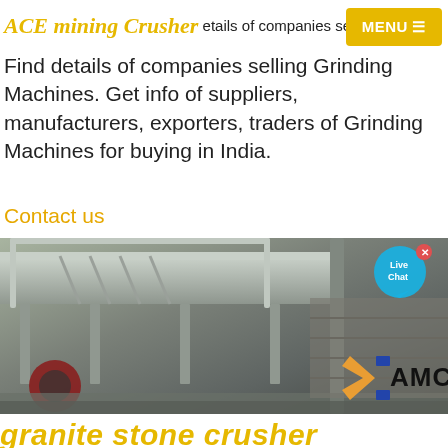ACE mining Crusher
Find details of companies selling Grinding Machines. Get info of suppliers, manufacturers, exporters, traders of Grinding Machines for buying in India.
Contact us
[Figure (photo): Industrial grinding machine equipment photo with metal frame structure, wheels, and AMC branding logo in bottom right corner. Live Chat bubble in top right.]
granite stone crusher